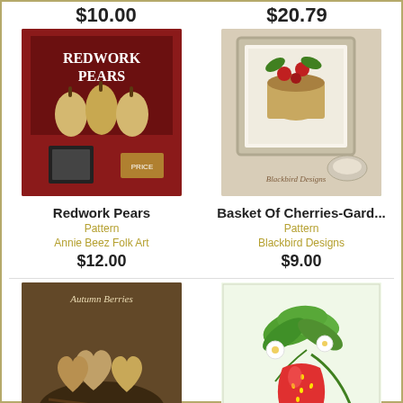$10.00
$20.79
[Figure (photo): Redwork Pears cross stitch pattern cover showing embroidered pears on dark red background]
Redwork Pears
Pattern
Annie Beez Folk Art
$12.00
[Figure (photo): Basket of Cherries Garden cross stitch pattern by Blackbird Designs in white frame]
Basket Of Cherries-Gard...
Pattern
Blackbird Designs
$9.00
[Figure (photo): Autumn Berries pattern cover by Erica Michaels showing embroidered heart shapes in nest]
Autumn Berries
Pattern
Erica Michaels Designs
$15.00
[Figure (photo): Garden Strawberry bead embroidery kit by Riolis showing beaded strawberry with green leaves and white flower]
Garden Strawberry
Kit
Riolis
$9.49